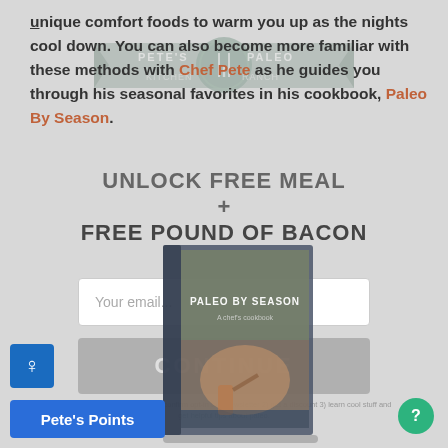unique comfort foods to warm you up as the nights cool down. You can also become more familiar with these methods with Chef Pete as he guides you through his seasonal favorites in his cookbook, Paleo By Season.
UNLOCK FREE MEAL + FREE POUND OF BACON
[Figure (photo): Book cover of 'Paleo By Season' cookbook shown at an angle, with a person cooking in the background]
Your email...
CONTINUE
By clicking that button, you'll: 1) confirm opt-in to a newsletter 2) get a discount 3) learn cool stuff and get helpful tips about paleo.